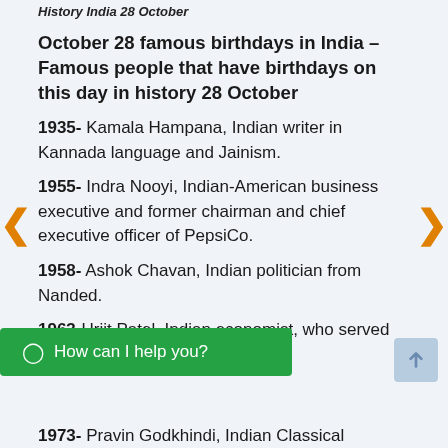History India 28 October
October 28 famous birthdays in India – Famous people that have birthdays on this day in history 28 October
1935- Kamala Hampana, Indian writer in Kannada language and Jainism.
1955- Indra Nooyi, Indian-American business executive and former chairman and chief executive officer of PepsiCo.
1958- Ashok Chavan, Indian politician from Nanded.
1963- Urjit Patel, Indian economist, who served as the 24th Governor of the
1973- Pravin Godkhindi, Indian Classical